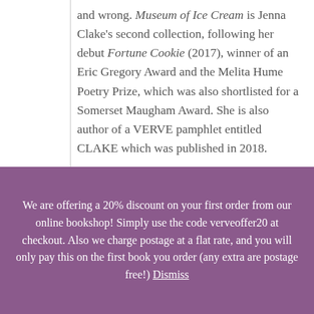and wrong. Museum of Ice Cream is Jenna Clake's second collection, following her debut Fortune Cookie (2017), winner of an Eric Gregory Award and the Melita Hume Poetry Prize, which was also shortlisted for a Somerset Maugham Award. She is also author of a VERVE pamphlet entitled CLAKE which was published in 2018.
We are offering a 20% discount on your first order from our online bookshop! Simply use the code verveoffer20 at checkout. Also we charge postage at a flat rate, and you will only pay this on the first book you order (any extra are postage free!) Dismiss